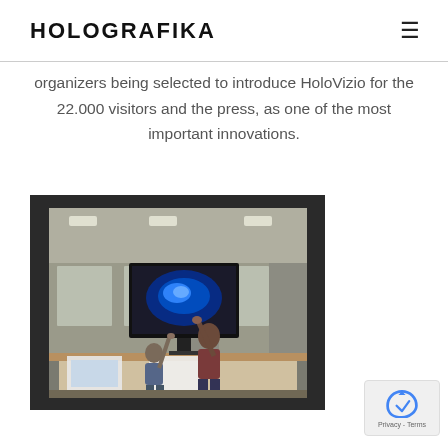HOLOGRAFIKA
organizers being selected to introduce HoloVizio for the 22.000 visitors and the press, as one of the most important innovations.
[Figure (photo): Two people interacting with a large HoloVizio 3D display in a room setting. One person stands reaching up toward the screen showing a blue holographic image. Another person is seated at a table with a laptop.]
Privacy - Terms